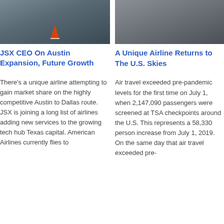[Figure (photo): Aerial or ground-level view of a runway or road with an orange traffic cone]
JSX CEO On Austin Expansion, Future Growth
There’s a unique airline attempting to gain market share on the highly competitive Austin to Dallas route. JSX is joining a long list of airlines adding new services to the growing tech hub Texas capital. American Airlines currently flies to
[Figure (photo): Aerial or ground-level view of a runway or tarmac surface]
A Unique Airline Returns to The U.S. Skies
Air travel exceeded pre-pandemic levels for the first time on July 1, when 2,147,090 passengers were screened at TSA checkpoints around the U.S. This represents a 58,330 person increase from July 1, 2019. On the same day that air travel exceeded pre-